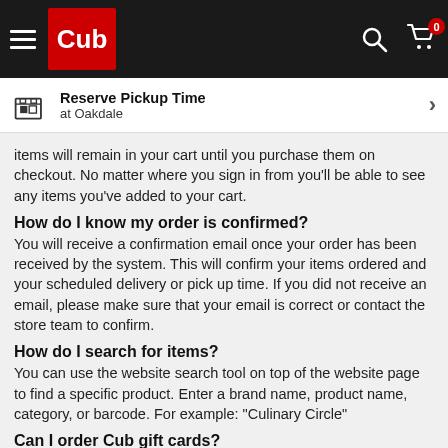Cub — Reserve Pickup Time at Oakdale
items will remain in your cart until you purchase them on checkout. No matter where you sign in from you'll be able to see any items you've added to your cart.
How do I know my order is confirmed?
You will receive a confirmation email once your order has been received by the system. This will confirm your items ordered and your scheduled delivery or pick up time. If you did not receive an email, please make sure that your email is correct or contact the store team to confirm.
How do I search for items?
You can use the website search tool on top of the website page to find a specific product. Enter a brand name, product name, category, or barcode. For example: "Culinary Circle"
Can I order Cub gift cards?
Yes - but not for pickup or delivery. You can order Cub gift